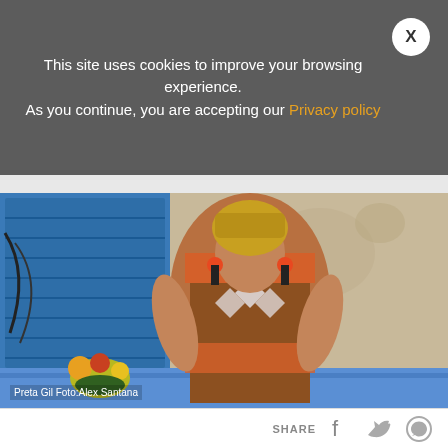This site uses cookies to improve your browsing experience. As you continue, you are accepting our Privacy policy
[Figure (photo): Woman in colorful African-print dress and orange tassel earrings with head wrap, posed in front of blue shuttered wall with fruits nearby. Photo credit: Preta Gil Foto: Alex Santana]
Preta Gil Foto:Alex Santana
SHARE